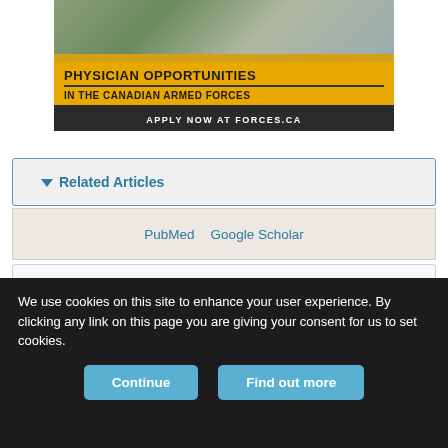[Figure (photo): Advertisement for Physician Opportunities in the Canadian Armed Forces. Shows a military physician in camouflage uniform with arms crossed. Yellow banner reads 'PHYSICIAN OPPORTUNITIES' and 'IN THE CANADIAN ARMED FORCES'. Black footer reads 'APPLY NOW AT FORCES.CA'.]
▼ Related Articles
PubMed   Google Scholar
▶ Cited By...
▶ More in this TOC Section
We use cookies on this site to enhance your user experience. By clicking any link on this page you are giving your consent for us to set cookies.
Continue   Find out more